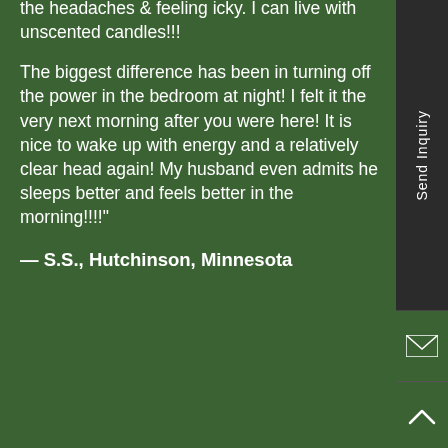the headaches & feeling icky. I can live with unscented candles!!!
The biggest difference has been in turning off the power in the bedroom at night! I felt it the very next morning after you were here! It is nice to wake up with energy and a relatively clear head again! My husband even admits he sleeps better and feels better in the morning!!!!"
— S.S., Hutchinson, Minnesota